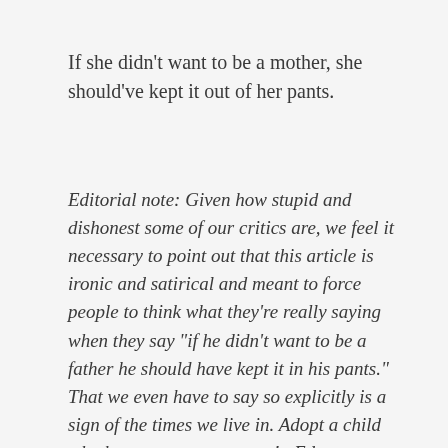If she didn't want to be a mother, she should've kept it out of her pants.
Editorial note: Given how stupid and dishonest some of our critics are, we feel it necessary to point out that this article is ironic and satirical and meant to force people to think what they're really saying when they say "if he didn't want to be a father he should have kept it in his pants." That we even have to say so explicitly is a sign of the times we live in. Adopt a child whether you want to or not! –Ed